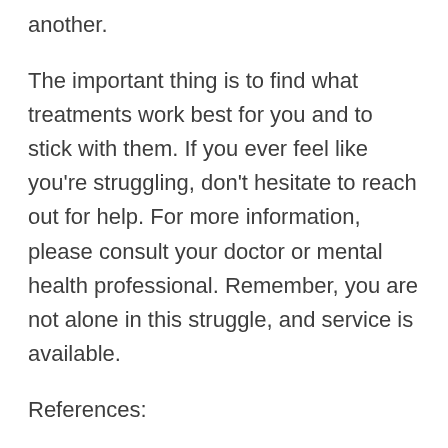another.
The important thing is to find what treatments work best for you and to stick with them. If you ever feel like you're struggling, don't hesitate to reach out for help. For more information, please consult your doctor or mental health professional. Remember, you are not alone in this struggle, and service is available.
References:
https://beyondocd.org/expert-